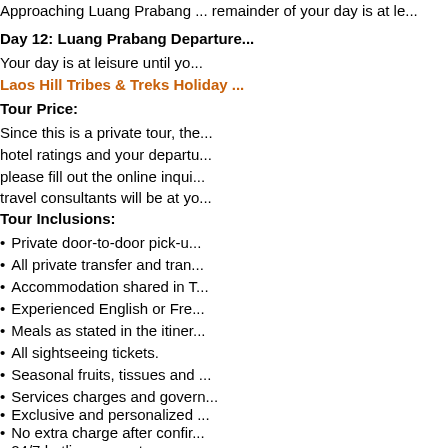Approaching Luang Prabang ... remainder of your day is at le...
Day 12: Luang Prabang Departure...
Your day is at leisure until yo...
Laos Hill Tribes & Treks Holiday ...
Tour Price:
Since this is a private tour, the... hotel ratings and your departu... please fill out the online inqui... travel consultants will be at yo...
Tour Inclusions:
Private door-to-door pick-u...
All private transfer and tran...
Accommodation shared in T...
Experienced English or Fre...
Meals as stated in the itiner...
All sightseeing tickets.
Seasonal fruits, tissues and ...
Services charges and govern...
Exclusive and personalized ...
No extra charge after confir...
24/7 hotline support guaran...